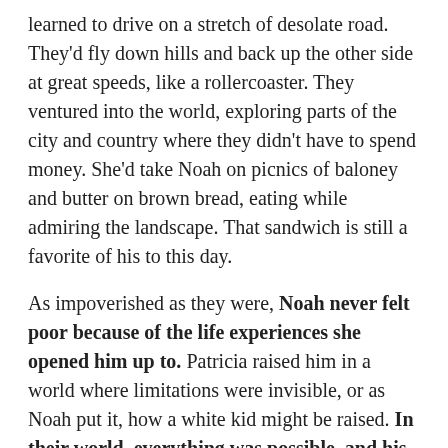learned to drive on a stretch of desolate road. They'd fly down hills and back up the other side at great speeds, like a rollercoaster. They ventured into the world, exploring parts of the city and country where they didn't have to spend money. She'd take Noah on picnics of baloney and butter on brown bread, eating while admiring the landscape. That sandwich is still a favorite of his to this day.
As impoverished as they were, Noah never felt poor because of the life experiences she opened him up to. Patricia raised him in a world where limitations were invisible, or as Noah put it, how a white kid might be raised. In their world, everything was possible, and his voice and ideas were important. She showed him that there were dreams beyond the confines of his race and culture.
Many people would tell her she was crazy and ask why she was wasting all this time teaching her son about the world. Each time, Patricia would counter with, "Even if he never leaves the ghetto, he will know that